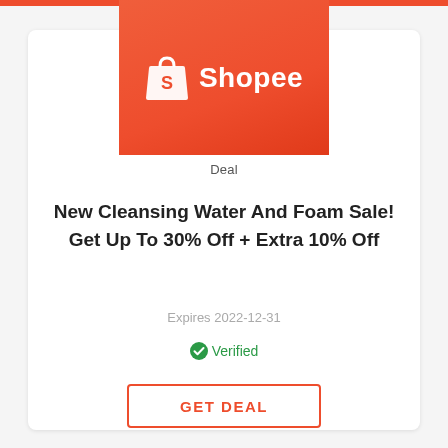[Figure (logo): Shopee logo on orange/red gradient background with shopping bag icon and 'Shopee' text in white]
Deal
New Cleansing Water And Foam Sale! Get Up To 30% Off + Extra 10% Off
Expires 2022-12-31
Verified
GET DEAL